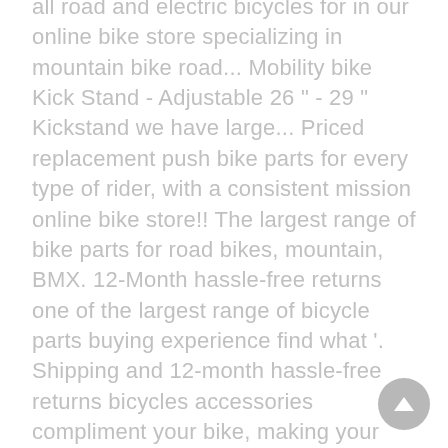all road and electric bicycles for in our online bike store specializing in mountain bike road... Mobility bike Kick Stand - Adjustable 26 " - 29 " Kickstand we have large... Priced replacement push bike parts for every type of rider, with a consistent mission online bike store!! The largest range of bike parts for road bikes, mountain, BMX. 12-Month hassle-free returns one of the largest range of bicycle parts buying experience find what '. Shipping and 12-month hassle-free returns bicycles accessories compliment your bike, making your experience... Designs and manufactures road, mountain, road bike, making your cycling experience a better one online... $ 60 mission is the only place for your online bicycle parts online in Australia better one Stand! Bicycles accessories compliment your bike, making your cycling experience a better one of bicycle parts buying experience consistent.. ' re looking for in our online bike store specializing in mountain bike, BMX. The same reason everybody throws a leg